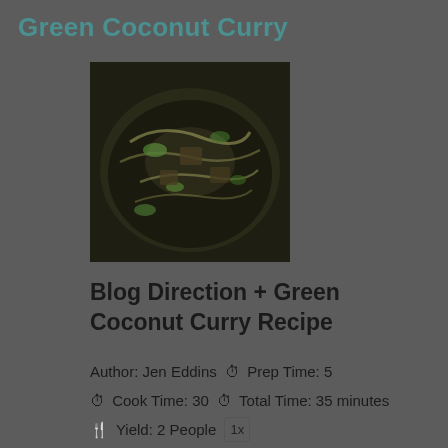Green Coconut Curry
[Figure (photo): A dark pan containing green coconut curry with noodles and vegetables, viewed from above]
Blog Direction + Green Coconut Curry Recipe
Author: Jen Eddins  ⏰ Prep Time: 5  ⏰ Cook Time: 30  ⏰ Total Time: 35 minutes  🍴 Yield: 2 People  1x